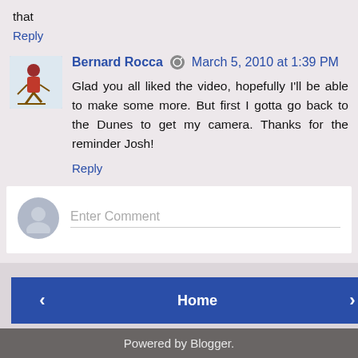that
Reply
Bernard Rocca · March 5, 2010 at 1:39 PM
Glad you all liked the video, hopefully I'll be able to make some more. But first I gotta go back to the Dunes to get my camera. Thanks for the reminder Josh!
Reply
Enter Comment
Home
View web version
Powered by Blogger.